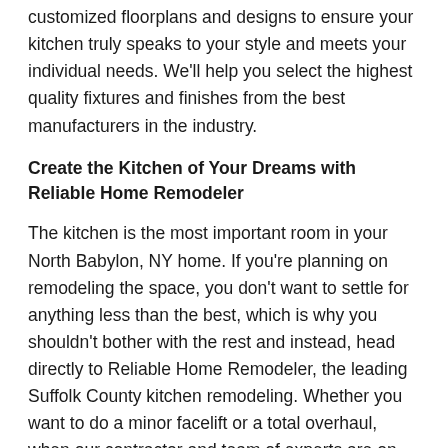customized floorplans and designs to ensure your kitchen truly speaks to your style and meets your individual needs. We'll help you select the highest quality fixtures and finishes from the best manufacturers in the industry.
Create the Kitchen of Your Dreams with Reliable Home Remodeler
The kitchen is the most important room in your North Babylon, NY home. If you're planning on remodeling the space, you don't want to settle for anything less than the best, which is why you shouldn't bother with the rest and instead, head directly to Reliable Home Remodeler, the leading Suffolk County kitchen remodeling. Whether you want to do a minor facelift or a total overhaul, when our contractor and team of experts are on the job, you can be sure that you'll receive incredible results.
The kitchen of your dreams is just a phone call away! To schedule an appointment with our expert contractor, please dial 631-539-